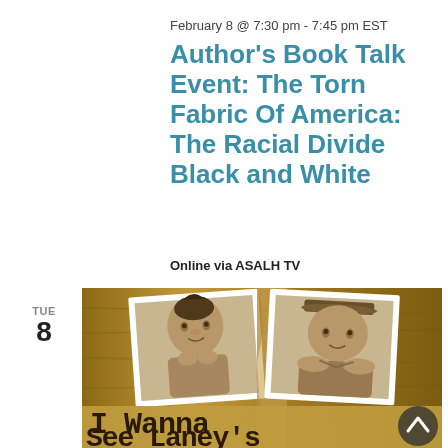February 8 @ 7:30 pm - 7:45 pm EST
Author's Book Talk Event: The Torn Fabric Of America: The Racial Divide Black and White
Online via ASALH TV
TUE
8
[Figure (photo): Book cover image showing two vintage black-and-white portrait photos of young children (a girl and a boy) on a sepia-toned wooden background, with large typewriter-style text reading 'I Wanna See Laney's' at the bottom]